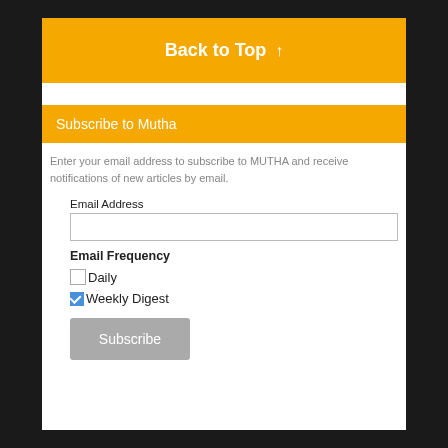Back to Top ↑
Subscribe to Mutha
Enter your email address to subscribe to MUTHA and receive notifications of new articles by email.
Email Address
Email Frequency
Daily
Weekly Digest
Subscribe